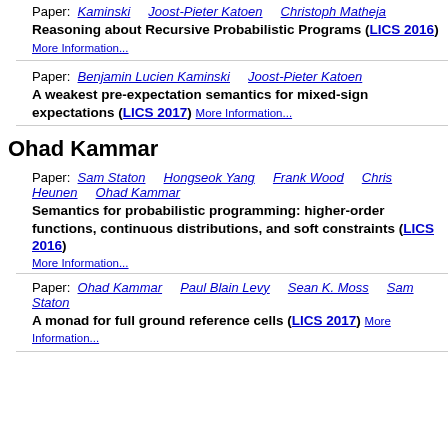Paper: Kaminski   Joost-Pieter Katoen   Christoph Matheja
Reasoning about Recursive Probabilistic Programs (LICS 2016) More Information...
Paper: Benjamin Lucien Kaminski   Joost-Pieter Katoen
A weakest pre-expectation semantics for mixed-sign expectations (LICS 2017) More Information...
Ohad Kammar
Paper: Sam Staton   Hongseok Yang   Frank Wood   Chris Heunen   Ohad Kammar
Semantics for probabilistic programming: higher-order functions, continuous distributions, and soft constraints (LICS 2016) More Information...
Paper: Ohad Kammar   Paul Blain Levy   Sean K. Moss   Sam Staton
A monad for full ground reference cells (LICS 2017) More Information...